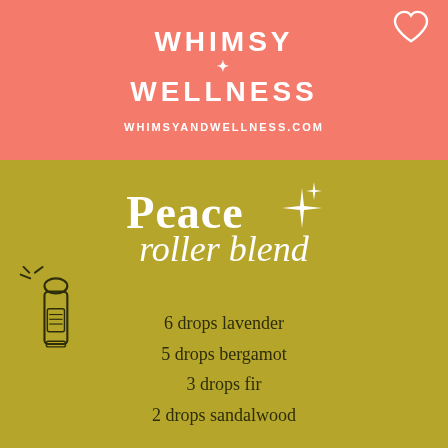[Figure (logo): Whimsy + Wellness brand logo with heart icon on coral/salmon pink background]
WHIMSYANDWELLNESS.COM
Peace roller blend
6 drops lavender
5 drops bergamot
3 drops fir
2 drops sandalwood